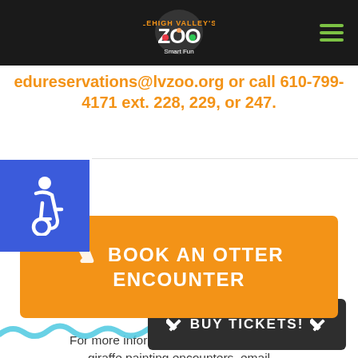Lehigh Valley Zoo
edureservations@lvzoo.org or call 610-799-4171 ext. 228, 229, or 247.
[Figure (logo): Accessibility wheelchair icon in blue square]
☞ BOOK AN OTTER ENCOUNTER
For more information on otter feeding or giraffe painting encounters, email mmorse@lvzoo.org or call 610-799-4171 ext. 238.
✏ BUY TICKETS! ✏